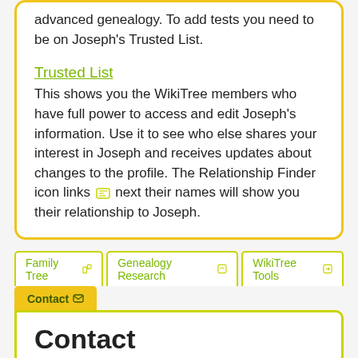advanced genealogy. To add tests you need to be on Joseph's Trusted List.
Trusted List
This shows you the WikiTree members who have full power to access and edit Joseph's information. Use it to see who else shares your interest in Joseph and receives updates about changes to the profile. The Relationship Finder icon links [icon] next their names will show you their relationship to Joseph.
Family Tree  |  Genealogy Research  |  WikiTree Tools
Contact
Contact